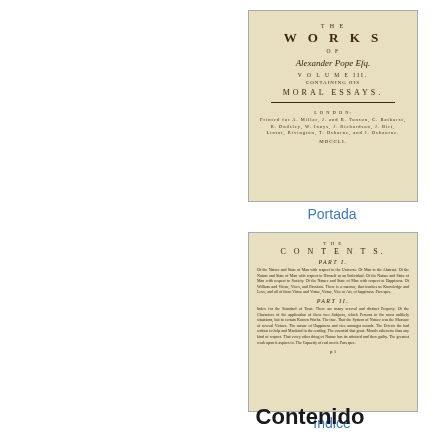[Figure (photo): Scanned title page of 'The Works of Alexander Pope Esq., Volume III, Containing his Moral Essays', London publisher, with ornate old typography on aged paper background]
Portada
[Figure (photo): Scanned contents page of the same book showing 'THE CONTENTS, PART I' and 'PART II' sections with small text listing essay titles and page numbers]
Índice
Contenido